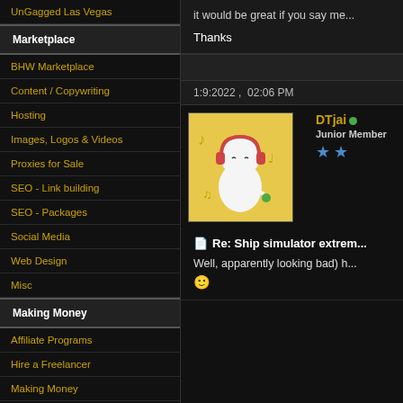UnGagged Las Vegas
Marketplace
BHW Marketplace
Content / Copywriting
Hosting
Images, Logos & Videos
Proxies for Sale
SEO - Link building
SEO - Packages
Social Media
Web Design
Misc
Making Money
Affiliate Programs
Hire a Freelancer
Making Money
Pay Per Click (PPC)
Site Flipping
it would be great if you say m...
Thanks
1:9:2022 ,  02:06 PM
DTjai
Junior Member
Re: Ship simulator extrem...
Well, apparently looking bad) h... 🙂